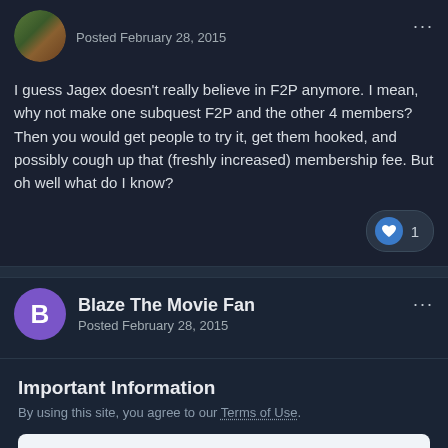Posted February 28, 2015
I guess Jagex doesn't really believe in F2P anymore. I mean, why not make one subquest F2P and the other 4 members? Then you would get people to try it, get them hooked, and possibly cough up that (freshly increased) membership fee. But oh well what do I know?
Blaze The Movie Fan
Posted February 28, 2015
Important Information
By using this site, you agree to our Terms of Use.
✓  I accept